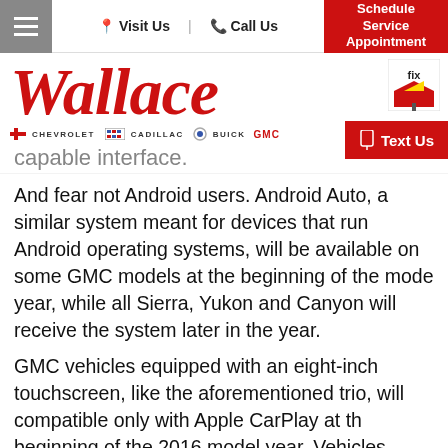Wallace Chevrolet Cadillac Buick GMC — Visit Us | Call Us | Schedule Service Appointment
[Figure (logo): Wallace dealership logo in red italic serif font with Chevrolet, Cadillac, Buick, GMC brand logos below; Fix Auto collision logo top right]
capable interface.
And fear not Android users. Android Auto, a similar system meant for devices that run Android operating systems, will be available on some GMC models at the beginning of the mode year, while all Sierra, Yukon and Canyon will receive the system later in the year.
GMC vehicles equipped with an eight-inch touch-screen, like the aforementioned trio, will compatible only with Apple CarPlay at the beginning of the 2016 model year. Vehicles equipped with the seven-inch touchscreen, like